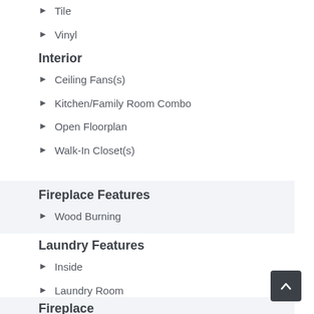Tile
Vinyl
Interior
Ceiling Fans(s)
Kitchen/Family Room Combo
Open Floorplan
Walk-In Closet(s)
Fireplace Features
Wood Burning
Laundry Features
Inside
Laundry Room
Fireplace
Yes